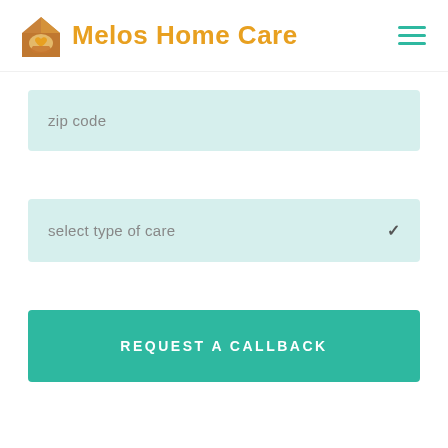Melos Home Care
zip code
select type of care
REQUEST A CALLBACK